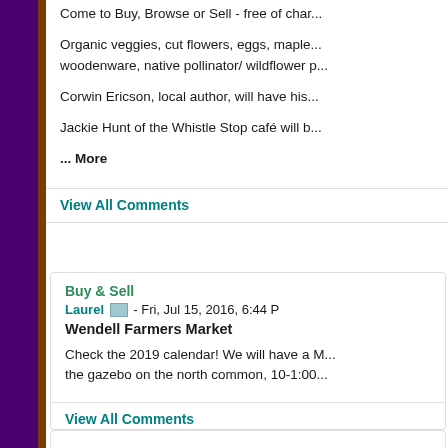Come to Buy, Browse or Sell - free of char...
Organic veggies, cut flowers, eggs, maple... woodenware, native pollinator/ wildflower p...
Corwin Ericson, local author, will have his...
Jackie Hunt of the Whistle Stop café will b...
... More
View All Comments
Buy & Sell
Laurel - Fri, Jul 15, 2016, 6:44 P
Wendell Farmers Market
Check the 2019 calendar! We will have a M... the gazebo on the north common, 10-1:00...
View All Comments